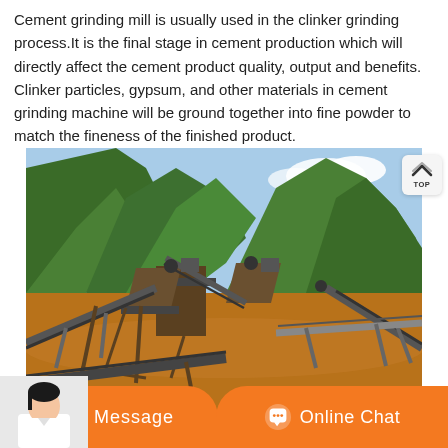Cement grinding mill is usually used in the clinker grinding process.It is the final stage in cement production which will directly affect the cement product quality, output and benefits. Clinker particles, gypsum, and other materials in cement grinding machine will be ground together into fine powder to match the fineness of the finished product.
[Figure (photo): Outdoor photo of industrial cement/mining grinding machinery with conveyor belts and hoppers set against a mountainous forested landscape with green peaks and blue sky.]
[Figure (screenshot): Website UI footer with orange buttons: 'Message' on the left and 'Online Chat' on the right, with a customer service avatar on the far left.]